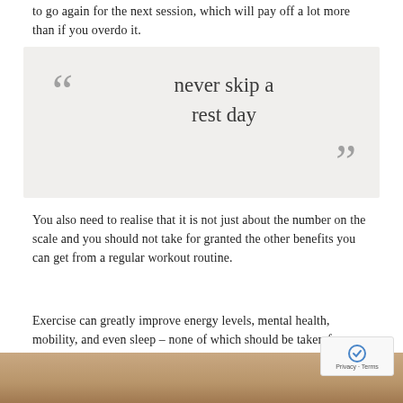to go again for the next session, which will pay off a lot more than if you overdo it.
[Figure (infographic): Pull quote box with grey background reading 'never skip a rest day' with large decorative quotation marks]
You also need to realise that it is not just about the number on the scale and you should not take for granted the other benefits you can get from a regular workout routine.
Exercise can greatly improve energy levels, mental health, mobility, and even sleep – none of which should be taken for granted.
[Figure (photo): Photo of a person's torso/midsection, skin visible, partial view at bottom of page]